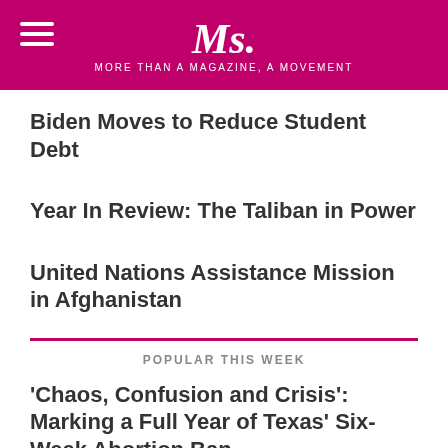Ms. — MORE THAN A MAGAZINE, A MOVEMENT
Biden Moves to Reduce Student Debt
Year In Review: The Taliban in Power
United Nations Assistance Mission in Afghanistan
POPULAR THIS WEEK
'Chaos, Confusion and Crisis': Marking a Full Year of Texas' Six-Week Abortion Ban
September 2022 Reads for the Rest of Us
The Jackson Water Crisis Is a Crisis of Leadership